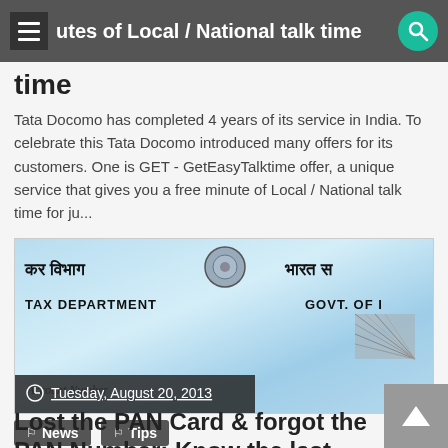utes of Local / National talk time
time
Tata Docomo has completed 4 years of its service in India. To celebrate this Tata Docomo introduced many offers for its customers. One is GET - GetEasyTalktime offer, a unique service that gives you a free minute of Local / National talk time for ju...
[Figure (photo): PAN card image showing TAX DEPARTMENT and GOVT. OF I... text with an emblem, Hindi text, hologram, and Account Number field. Date overlay reads Tuesday, August 20, 2013]
Tuesday, August 20, 2013
News
Tips
Lost the PAN Card & forgot the PAN Number: Know the last PAN